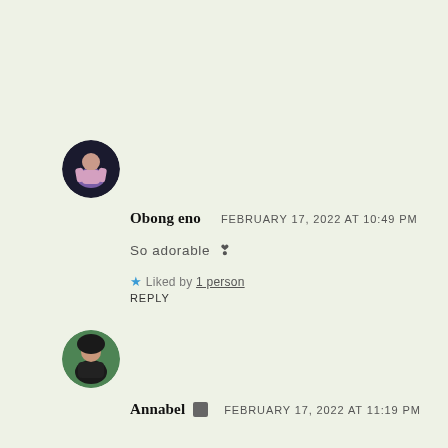[Figure (photo): Circular avatar of Obong eno — person in colorful outfit against dark background]
Obong eno   FEBRUARY 17, 2022 AT 10:49 PM
So adorable ❣
★ Liked by 1 person
REPLY
[Figure (photo): Circular avatar of Annabel — woman with long dark hair against green background]
Annabel 🛡 FEBRUARY 17, 2022 AT 11:19 PM